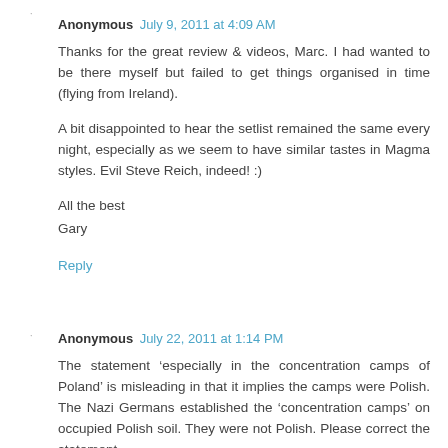Anonymous  July 9, 2011 at 4:09 AM
Thanks for the great review & videos, Marc. I had wanted to be there myself but failed to get things organised in time (flying from Ireland).

A bit disappointed to hear the setlist remained the same every night, especially as we seem to have similar tastes in Magma styles. Evil Steve Reich, indeed! :)

All the best
Gary
Reply
Anonymous  July 22, 2011 at 1:14 PM
The statement ‘especially in the concentration camps of Poland’ is misleading in that it implies the camps were Polish. The Nazi Germans established the ‘concentration camps’ on occupied Polish soil. They were not Polish. Please correct the statement.